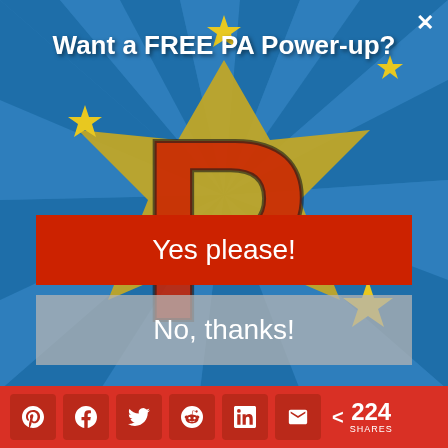[Figure (screenshot): Modal popup with comic-style burst background showing a large red letter P with gold stars on blue radial burst background]
Want a FREE PA Power-up?
Yes please!
No, thanks!
and taking NSAIDS but her symptoms persist. What is the best therapeutic option at this point?
< 224 SHARES